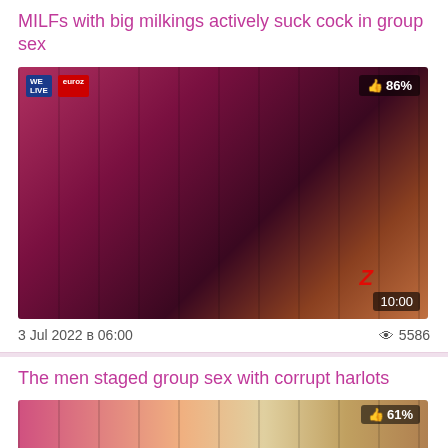MILFs with big milkings actively suck cock in group sex
[Figure (photo): Video thumbnail showing adult content scene, with 86% rating badge and 10:00 duration overlay]
3 Jul 2022 в 06:00   👁 5586
The men staged group sex with corrupt harlots
[Figure (photo): Partial video thumbnail showing adult content scene with 61% rating badge]